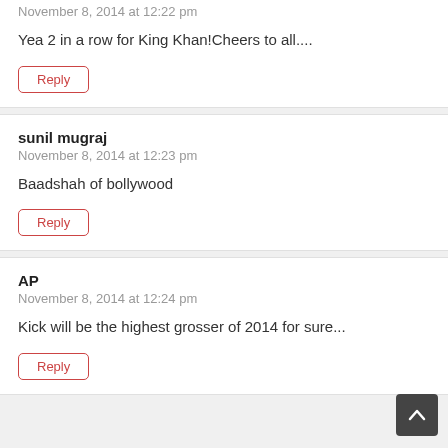November 8, 2014 at 12:22 pm
Yea 2 in a row for King Khan!Cheers to all....
Reply
sunil mugraj
November 8, 2014 at 12:23 pm
Baadshah of bollywood
Reply
AP
November 8, 2014 at 12:24 pm
Kick will be the highest grosser of 2014 for sure...
Reply